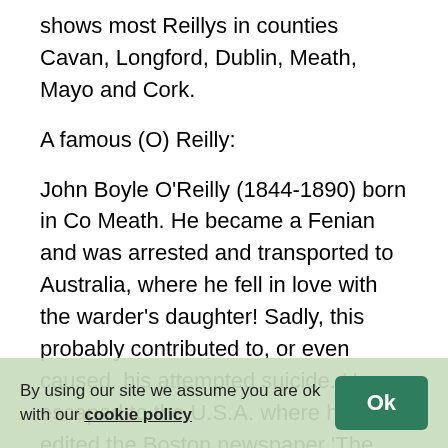shows most Reillys in counties Cavan, Longford, Dublin, Meath, Mayo and Cork.
A famous (O) Reilly:
John Boyle O'Reilly (1844-1890) born in Co Meath. He became a Fenian and was arrested and transported to Australia, where he fell in love with the warder's daughter! Sadly, this probably contributed to, or even caused, his attempted suicide. He escaped to the U.S.A. where he edited the Boston newspaper 'The Pilot'.
Appendix.
RAHILLY
Ó Raithile
A Co Kerry name. 'The O Rahilly' or Michael Joseph O Rahilly (1875-1916) born in Co Kerry. Irish Republican, although not a member of the I.R.B. He unsuccessfully tried to stop the...